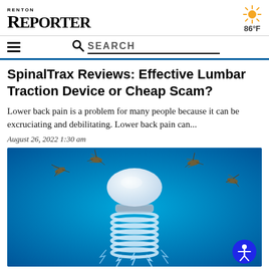RENTON REPORTER | 86°F
SpinalTrax Reviews: Effective Lumbar Traction Device or Cheap Scam?
Lower back pain is a problem for many people because it can be excruciating and debilitating. Lower back pain can...
August 26, 2022 1:30 am
[Figure (photo): Product image of a SpinalTrax lumbar traction device — a white dome-shaped top with spiral coil base resembling a spine, surrounded by mosquito-like insects, on a bright blue background with lightning effects at the base. An accessibility icon button appears in the bottom right corner.]